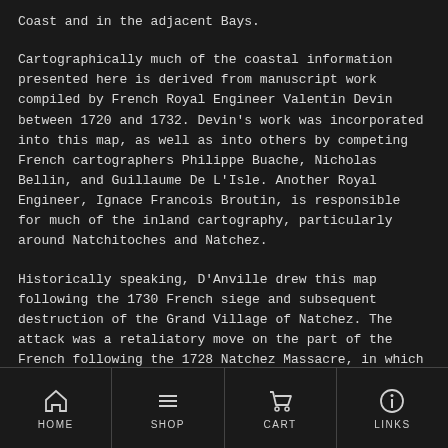Coast and in the adjacent Bays.
Cartographically much of the coastal information presented here is derived from manuscript work compiled by French Royal Engineer Valentin Devin between 1720 and 1732. Devin's work was incorporated into this map, as well as into others by competing French cartographers Philippe Buache, Nicholas Bellin, and Guillaume De L'Isle. Another Royal Engineer, Ignace Francois Broutin, is responsible for much of the inland cartography, particularly around Natchitoches and Natchez.
Historically speaking, D'Anville drew this map following the 1730 French siege and subsequent destruction of the Grand Village of Natchez. The attack was a retaliatory move on the part of the French following the 1728 Natchez Massacre, in which 229 French colonists who had settled nearby Fort Rosalie (depicted) were slain
HOME  SHOP  CART  LINKS